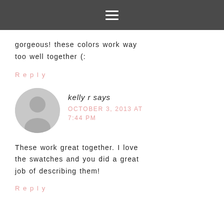≡
gorgeous! these colors work way too well together (:
Reply
kelly r says
OCTOBER 3, 2013 AT 7:44 PM
These work great together. I love the swatches and you did a great job of describing them!
Reply